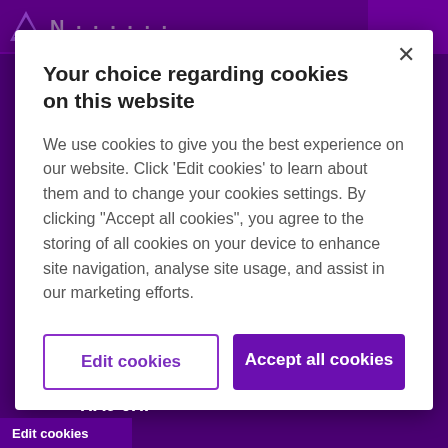Your choice regarding cookies on this website
We use cookies to give you the best experience on our website. Click ‘Edit cookies’ to learn about them and to change your cookies settings. By clicking “Accept all cookies”, you agree to the storing of all cookies on your device to enhance site navigation, analyse site usage, and assist in our marketing efforts.
Edit cookies
Accept all cookies
HA9 0HP
Edit cookies